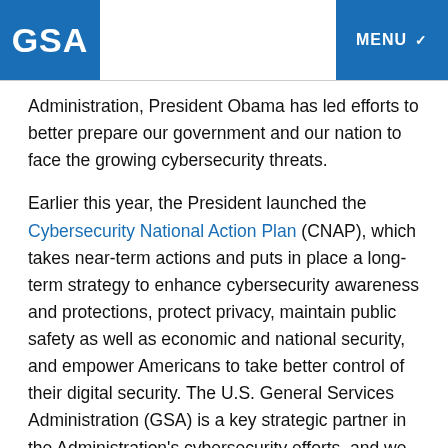GSA | MENU
Administration, President Obama has led efforts to better prepare our government and our nation to face the growing cybersecurity threats.
Earlier this year, the President launched the Cybersecurity National Action Plan (CNAP), which takes near-term actions and puts in place a long-term strategy to enhance cybersecurity awareness and protections, protect privacy, maintain public safety as well as economic and national security, and empower Americans to take better control of their digital security. The U.S. General Services Administration (GSA) is a key strategic partner in the Administration's cybersecurity efforts, and we are working hard to find the best vendors and most innovative products and services to tackle cybersecurity threats, and to deliver them to departments of federal government...